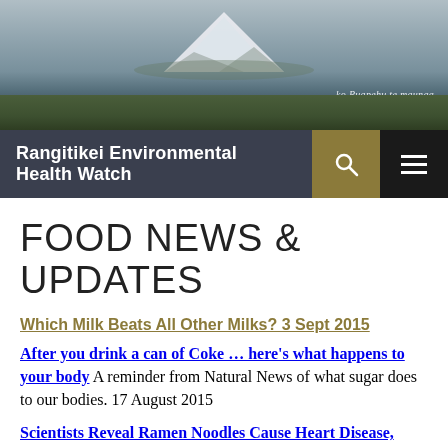[Figure (photo): Mountain landscape photo showing a snow-capped peak (Ruapehu) above green fields with cursive text 'ko Ruapehu te maunga']
Rangitikei Environmental Health Watch
FOOD NEWS & UPDATES
Which Milk Beats All Other Milks? 3 Sept 2015
After you drink a can of Coke … here's what happens to your body  A reminder from Natural News of what sugar does to our bodies. 17 August 2015
Scientists Reveal Ramen Noodles Cause Heart Disease, Stroke & Metabolic Syndrome  13 July 2015